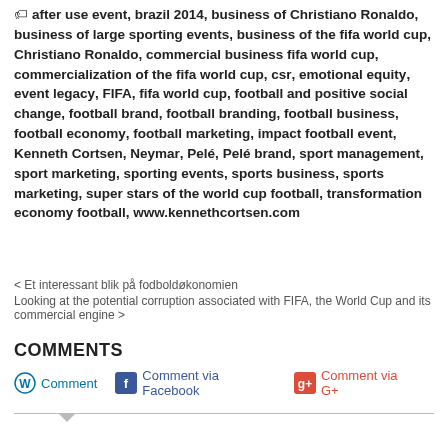after use event, brazil 2014, business of Christiano Ronaldo, business of large sporting events, business of the fifa world cup, Christiano Ronaldo, commercial business fifa world cup, commercialization of the fifa world cup, csr, emotional equity, event legacy, FIFA, fifa world cup, football and positive social change, football brand, football branding, football business, football economy, football marketing, impact football event, Kenneth Cortsen, Neymar, Pelé, Pelé brand, sport management, sport marketing, sporting events, sports business, sports marketing, super stars of the world cup football, transformation economy football, www.kennethcortsen.com
< Et interessant blik på fodboldøkonomien
Looking at the potential corruption associated with FIFA, the World Cup and its commercial engine >
COMMENTS
Comment | Comment via Facebook | Comment via G+